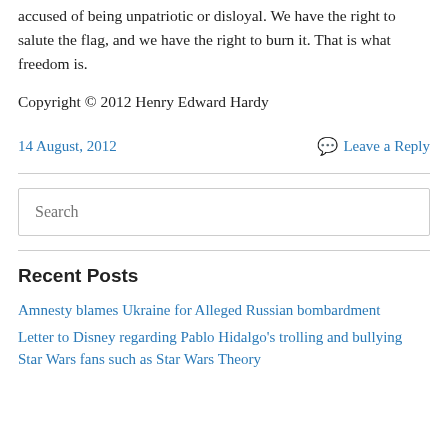accused of being unpatriotic or disloyal. We have the right to salute the flag, and we have the right to burn it. That is what freedom is.
Copyright © 2012 Henry Edward Hardy
14 August, 2012
Leave a Reply
Search
Recent Posts
Amnesty blames Ukraine for Alleged Russian bombardment
Letter to Disney regarding Pablo Hidalgo's trolling and bullying Star Wars fans such as Star Wars Theory